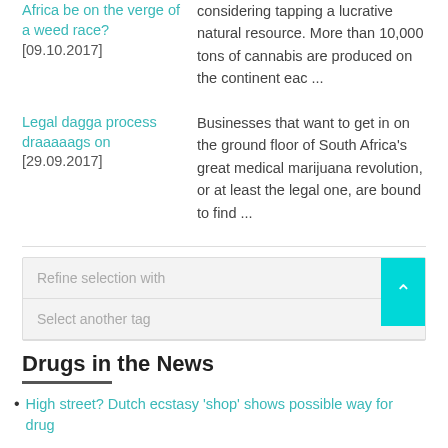Africa be on the verge of a weed race? [09.10.2017]
considering tapping a lucrative natural resource. More than 10,000 tons of cannabis are produced on the continent eac ...
Legal dagga process draaaaags on [29.09.2017]
Businesses that want to get in on the ground floor of South Africa's great medical marijuana revolution, or at least the legal one, are bound to find ...
Refine selection with
Select another tag
Drugs in the News
High street? Dutch ecstasy 'shop' shows possible way for drug